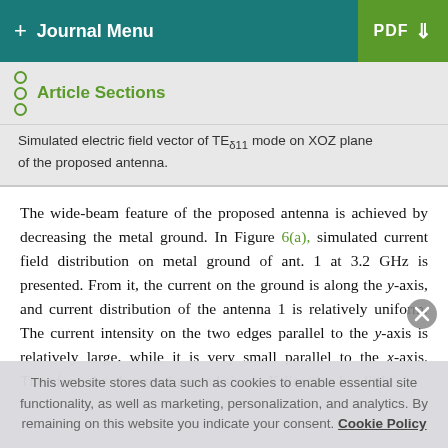+ Journal Menu   PDF ↓
Article Sections
Simulated electric field vector of TE_δ11 mode on XOZ plane of the proposed antenna.
The wide-beam feature of the proposed antenna is achieved by decreasing the metal ground. In Figure 6(a), simulated current field distribution on metal ground of ant. 1 at 3.2 GHz is presented. From it, the current on the ground is along the y-axis, and current distribution of the antenna 1 is relatively uniform. The current intensity on the two edges parallel to the y-axis is relatively large, while it is very small parallel to the x-axis. Therefore, the change of ground size in Y direction has little
This website stores data such as cookies to enable essential site functionality, as well as marketing, personalization, and analytics. By remaining on this website you indicate your consent. Cookie Policy